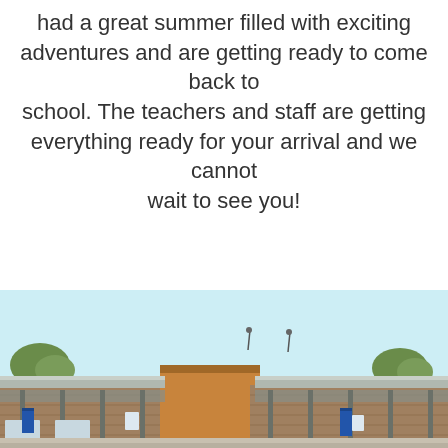had a great summer filled with exciting adventures and are getting ready to come back to school. The teachers and staff are getting everything ready for your arrival and we cannot wait to see you!
[Figure (photo): Exterior photo of a school building with brick facade, metal roofing, covered walkway/awnings, blue banners visible, trees in background, light blue sky.]